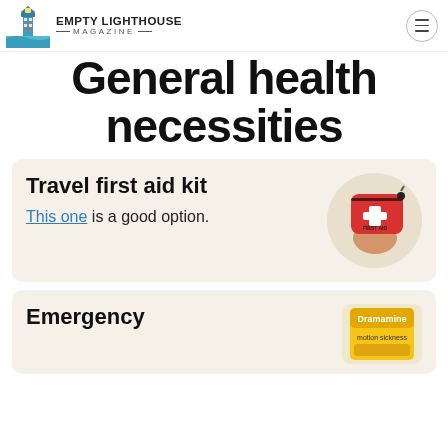Empty Lighthouse Magazine
General health necessities
Travel first aid kit
This one is a good option.
[Figure (photo): Hand holding a red travel first aid kit pouch with a white cross and 'FIRST AID' text]
Emergency